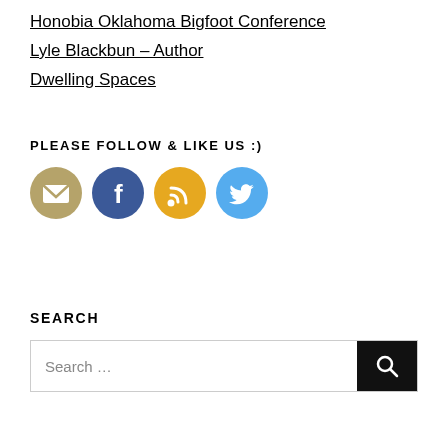Honobia Oklahoma Bigfoot Conference
Lyle Blackbun – Author
Dwelling Spaces
PLEASE FOLLOW & LIKE US :)
[Figure (other): Four social media icon buttons: email (tan/gold circle with envelope), Facebook (blue circle with F), RSS (orange circle with RSS symbol), Twitter (light blue circle with bird)]
SEARCH
[Figure (other): Search bar with placeholder text 'Search ...' and a black search button with magnifying glass icon]